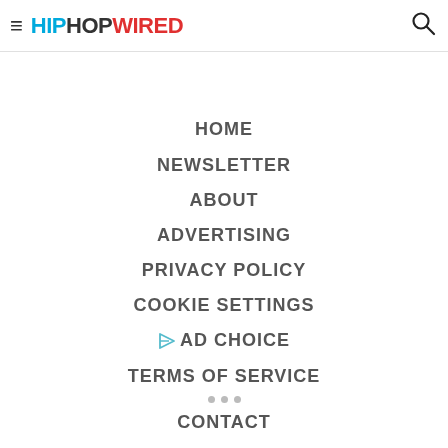HIPHOPWIRED
HOME
NEWSLETTER
ABOUT
ADVERTISING
PRIVACY POLICY
COOKIE SETTINGS
AD CHOICE
TERMS OF SERVICE
CONTACT